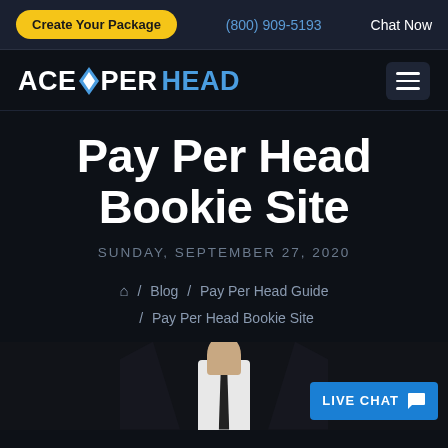Create Your Package | (800) 909-5193 | Chat Now
[Figure (logo): AcePerHead logo with diamond icon]
Pay Per Head Bookie Site
SUNDAY, SEPTEMBER 27, 2020
Home / Blog / Pay Per Head Guide / Pay Per Head Bookie Site
[Figure (photo): Man in suit and tie, partial view from waist up]
LIVE CHAT